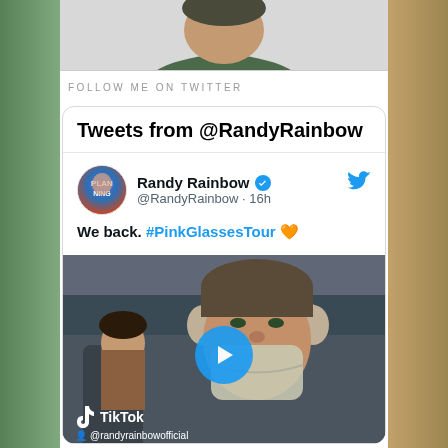[Figure (photo): Partial photo of a person at the top of the page]
FOLLOW ME ON TWITTER
Tweets from @RandyRainbow
[Figure (screenshot): Twitter/X embed showing a tweet from @RandyRainbow (verified) posted 16h ago. Tweet text: We back. #PinkGlassesTour with a heart emoji. Below is a TikTok video thumbnail showing a man on an airplane wearing headphones and a face mask, with a play button overlay. TikTok logo and @randyrainbowofficial handle shown.]
Randy Rainbow @RandyRainbow · 16h
We back. #PinkGlassesTour 🧡
TikTok @randyrainbowofficial